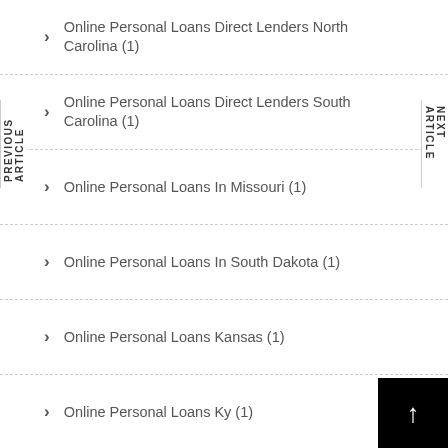Online Personal Loans Direct Lenders North Carolina (1)
Online Personal Loans Direct Lenders South Carolina (1)
Online Personal Loans In Missouri (1)
Online Personal Loans In South Dakota (1)
Online Personal Loans Kansas (1)
Online Personal Loans Ky (1)
Online Personal Loans La (1)
Online Personal Loans Ma (1)